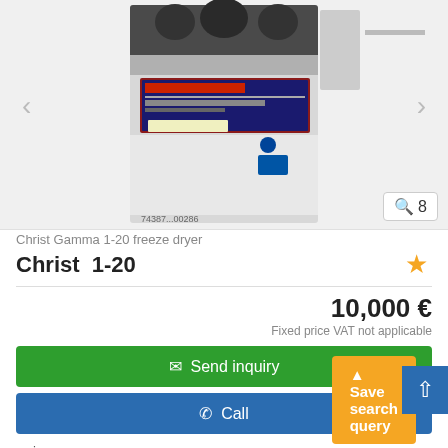[Figure (photo): Christ Gamma 1-20 freeze dryer machine photograph showing a white laboratory freeze dryer unit with a control panel/display on the front. Watermark visible at bottom of image: 74387...00286. Navigation arrows on left and right sides. Image count badge showing magnify icon and number 8.]
Christ Gamma 1-20 freeze dryer
Christ  1-20
10,000 €
Fixed price VAT not applicable
✉ Send inquiry
✆ Call
Żychlin
▲ Save search query